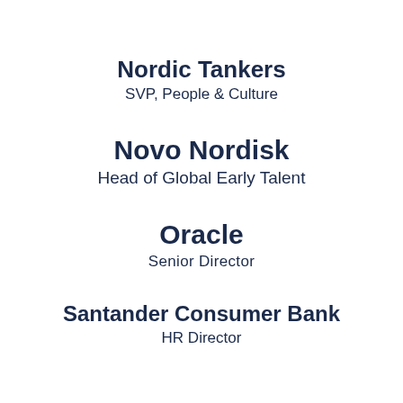Nordic Tankers
SVP, People & Culture
Novo Nordisk
Head of Global Early Talent
Oracle
Senior Director
Santander Consumer Bank
HR Director